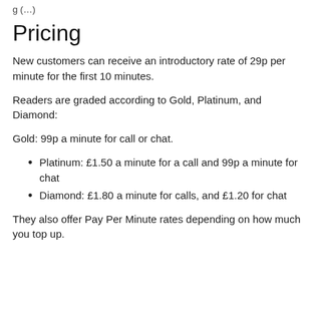g (…)
Pricing
New customers can receive an introductory rate of 29p per minute for the first 10 minutes.
Readers are graded according to Gold, Platinum, and Diamond:
Gold: 99p a minute for call or chat.
Platinum: £1.50 a minute for a call and 99p a minute for chat
Diamond: £1.80 a minute for calls, and £1.20 for chat
They also offer Pay Per Minute rates depending on how much you top up.